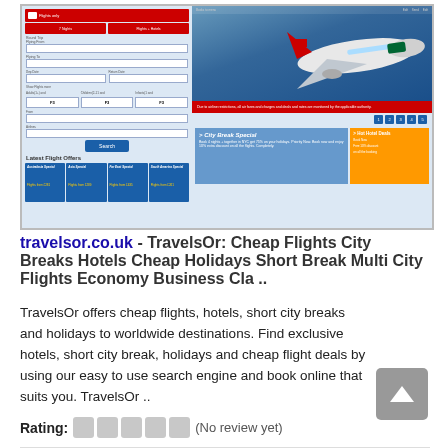[Figure (screenshot): Screenshot of travelsor.co.uk website showing a flight booking interface with a search form on the left, a TAP Air Portugal plane on the right, and promotional banners for City Break Special and Hot Hotel Deals, plus specials for Australasia, Asia, Far East, and South America]
travelsor.co.uk - TravelsOr: Cheap Flights City Breaks Hotels Cheap Holidays Short Break Multi City Flights Economy Business Cla ..
TravelsOr offers cheap flights, hotels, short city breaks and holidays to worldwide destinations. Find exclusive hotels, short city break, holidays and cheap flight deals by using our easy to use search engine and book online that suits you. TravelsOr ..
Rating: (No review yet)